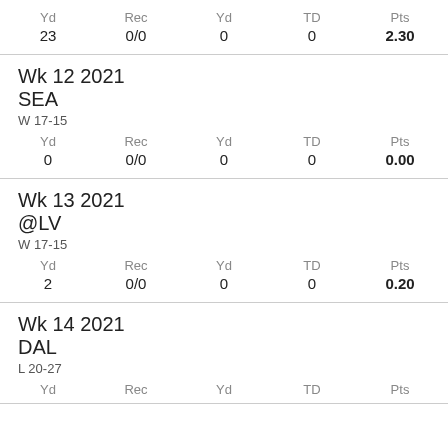| Yd | Rec | Yd | TD | Pts |
| --- | --- | --- | --- | --- |
| 23 | 0/0 | 0 | 0 | 2.30 |
Wk 12 2021
SEA
W 17-15
| Yd | Rec | Yd | TD | Pts |
| --- | --- | --- | --- | --- |
| 0 | 0/0 | 0 | 0 | 0.00 |
Wk 13 2021
@LV
W 17-15
| Yd | Rec | Yd | TD | Pts |
| --- | --- | --- | --- | --- |
| 2 | 0/0 | 0 | 0 | 0.20 |
Wk 14 2021
DAL
L 20-27
| Yd | Rec | Yd | TD | Pts |
| --- | --- | --- | --- | --- |
|  |